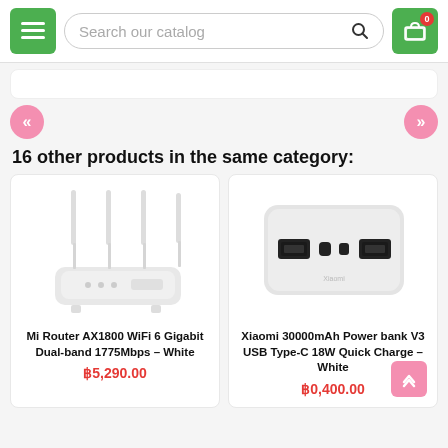[Figure (screenshot): E-commerce website header with green menu button, search bar reading 'Search our catalog', and green shopping cart button with badge showing 0]
[Figure (other): White banner/slider area with rounded corners]
[Figure (other): Left pink navigation arrow (double left chevron) and right pink navigation arrow (double right chevron)]
16 other products in the same category:
[Figure (photo): Mi Router AX1800 WiFi 6 Gigabit Dual-band 1775Mbps White router product image - white router with four antennas]
Mi Router AX1800 WiFi 6 Gigabit Dual-band 1775Mbps – White
฿5,290.00
[Figure (photo): Xiaomi 30000mAh Power bank V3 USB Type-C 18W Quick Charge White - white rectangular power bank with USB ports]
Xiaomi 30000mAh Power bank V3 USB Type-C 18W Quick Charge – White
฿0,400.00